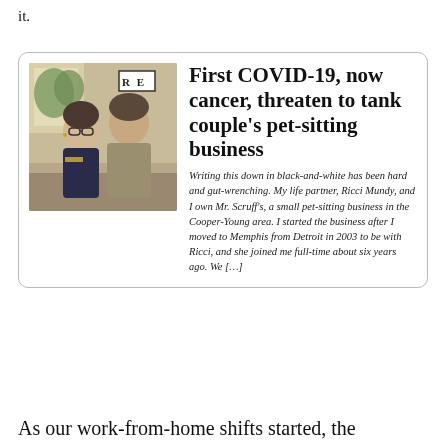it.
[Figure (photo): Card with a photo of two women standing together indoors, next to a headline and article excerpt about Mr. Scruff's pet-sitting business threatened by COVID-19 and cancer.]
First COVID-19, now cancer, threaten to tank couple's pet-sitting business
Writing this down in black-and-white has been hard and gut-wrenching. My life partner, Ricci Mundy, and I own Mr. Scruff’s, a small pet-sitting business in the Cooper-Young area. I started the business after I moved to Memphis from Detroit in 2003 to be with Ricci, and she joined me full-time about six years ago. We […]
As our work-from-home shifts started, the